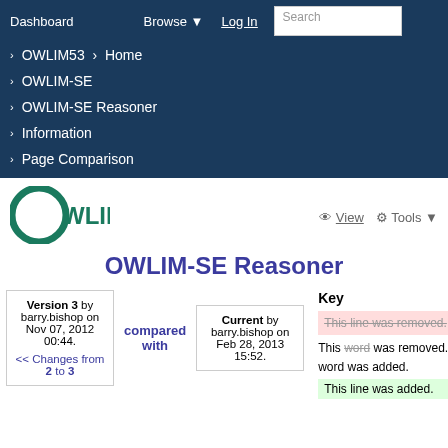Dashboard   Browse   Log In   Search
› OWLIM53 › Home
› OWLIM-SE
› OWLIM-SE Reasoner
› Information
› Page Comparison
[Figure (logo): OWLIM logo - green circle with O and text WLIM]
OWLIM-SE Reasoner
Key
This line was removed.
This word was removed. This word was added.
This line was added.
Version 3 by barry.bishop on Nov 07, 2012 00:44.
<< Changes from 2 to 3
compared with
Current by barry.bishop on Feb 28, 2013 15:52.